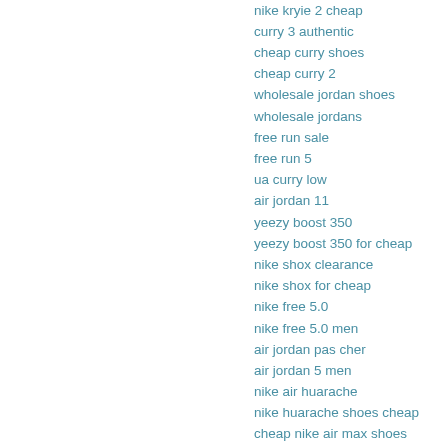nike kryie 2 cheap
curry 3 authentic
cheap curry shoes
cheap curry 2
wholesale jordan shoes
wholesale jordans
free run sale
free run 5
ua curry low
air jordan 11
yeezy boost 350
yeezy boost 350 for cheap
nike shox clearance
nike shox for cheap
nike free 5.0
nike free 5.0 men
air jordan pas cher
air jordan 5 men
nike air huarache
nike huarache shoes cheap
cheap nike air max shoes
air max 90 running shoes
air max 2016 canada
air max 2015 canada
air max shoe